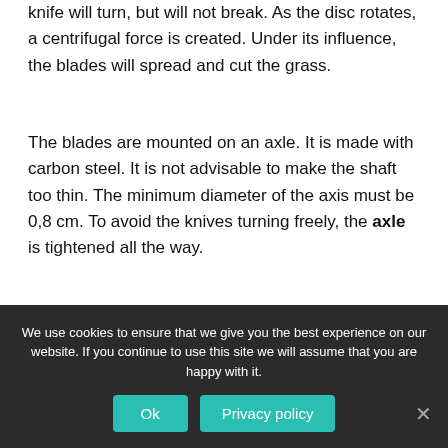knife will turn, but will not break. As the disc rotates, a centrifugal force is created. Under its influence, the blades will spread and cut the grass.
The blades are mounted on an axle. It is made with carbon steel. It is not advisable to make the shaft too thin. The minimum diameter of the axis must be 0,8 cm. To avoid the knives turning freely, the axle is tightened all the way.
Rotary mower with their own hands
We use cookies to ensure that we give you the best experience on our website. If you continue to use this site we will assume that you are happy with it.